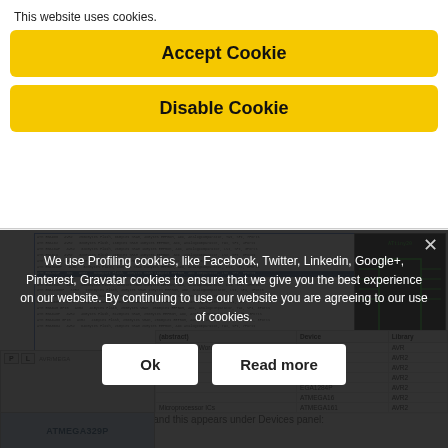This website uses cookies.
Accept Cookie
Disable Cookie
[Figure (screenshot): Screenshot of a device selection dialog showing a table of AVR microcontroller models with flash/SRAM/EEPROM memory specs, and a schematic/pinout diagram on the right side.]
Double click on the model and this appears under Devices panel:
| (abstract) | Device | Library |
| --- | --- | --- |
| Match Whole Words? | ATMEGA103 | AVR |
|  | GA128 | AVR2 |
|  | GA1280 | AVR2 |
|  | GA1281 | AVR2 |
|  | GA1284P | AVR2 |
|  | ATMEGA16 | AVR2 |
|  | ATMEGA161 | AVR2 |
[Figure (screenshot): Devices panel showing ATMEGA329P selected, with P L buttons and component browser.]
We use Profiling cookies, like Facebook, Twitter, Linkedin, Google+, Pinterest, Gravatar cookies to ensure that we give you the best experience on our website. By continuing to use our website you are agreeing to our use of cookies.
Ok
Read more